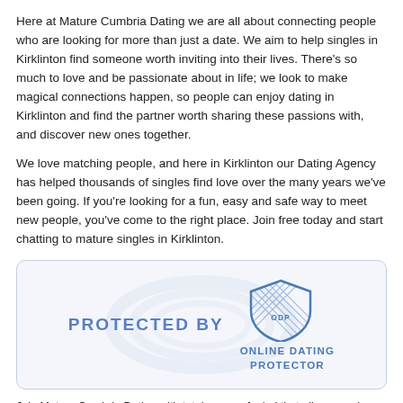Here at Mature Cumbria Dating we are all about connecting people who are looking for more than just a date. We aim to help singles in Kirklinton find someone worth inviting into their lives. There's so much to love and be passionate about in life; we look to make magical connections happen, so people can enjoy dating in Kirklinton and find the partner worth sharing these passions with, and discover new ones together.
We love matching people, and here in Kirklinton our Dating Agency has helped thousands of singles find love over the many years we've been going. If you're looking for a fun, easy and safe way to meet new people, you've come to the right place. Join free today and start chatting to mature singles in Kirklinton.
[Figure (logo): Protected By Online Dating Protector badge with shield icon and decorative background pattern]
Join Mature Cumbria Dating with total peace of mind that all personal details and communications will be kept private. Mature Cumbria Dating is focused on providing you a safe, secure and enjoyable online dating experience.
Putting Your Safety First
All Profiles Checked and Moderated